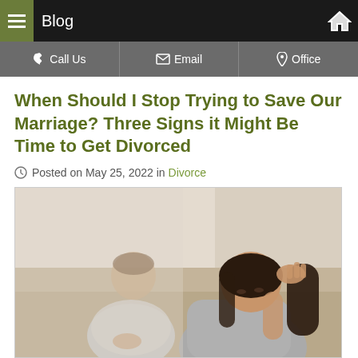Blog
Call Us | Email | Office
When Should I Stop Trying to Save Our Marriage? Three Signs it Might Be Time to Get Divorced
Posted on May 25, 2022 in Divorce
[Figure (photo): A distressed couple sitting apart on a couch. A woman in the foreground holds her head in her hand looking down with long dark hair. A man in the background sits with clasped hands looking away.]